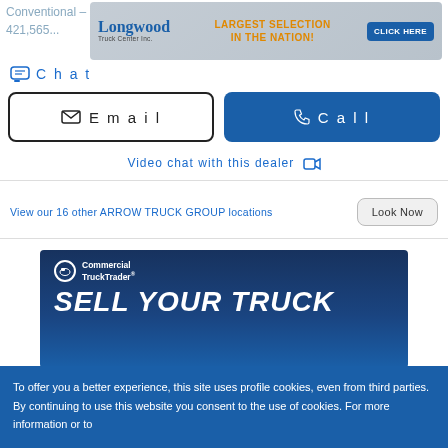Conventional – Sleeper Truck: Tractor 421,565…
[Figure (screenshot): Longwood Truck Center ad banner: LARGEST SELECTION IN THE NATION! CLICK HERE]
Chat
Email
Call
Video chat with this dealer
View our 16 other ARROW TRUCK GROUP locations
Look Now
[Figure (screenshot): Commercial Truck Trader – SELL YOUR TRUCK banner]
To offer you a better experience, this site uses profile cookies, even from third parties. By continuing to use this website you consent to the use of cookies. For more information or to